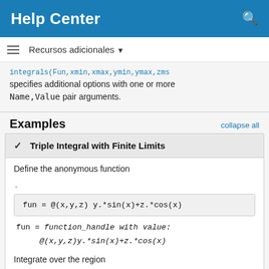Help Center
Recursos adicionales
integrals(Fun, xmin, xmax, ymin, ymax, zms specifies additional options with one or more Name, Value pair arguments.
Examples
collapse all
Triple Integral with Finite Limits
Define the anonymous function
.
fun = function_handle with value:
    @(x,y,z)y.*sin(x)+z.*cos(x)
Integrate over the region